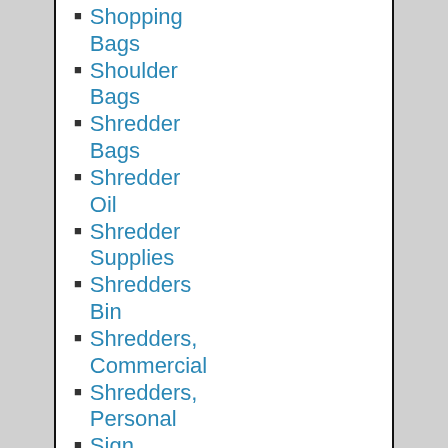Shopping Bags
Shoulder Bags
Shredder Bags
Shredder Oil
Shredder Supplies
Shredders Bin
Shredders, Commercial
Shredders, Personal
Sign & Message Boards
Sign Kits
Signs & Sign